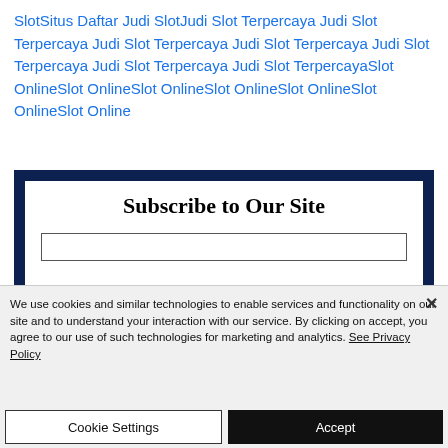SlotSitus Daftar Judi SlotJudi Slot Terpercaya Judi Slot Terpercaya Judi Slot Terpercaya Judi Slot Terpercaya Judi Slot Terpercaya Judi Slot Terpercaya Judi Slot TerpercayaSlot OnlineSlot OnlineSlot OnlineSlot OnlineSlot OnlineSlot OnlineSlot Online
[Figure (screenshot): Subscribe to Our Site box with dark navy border, white inner panel, bold serif title text 'Subscribe to Our Site', and a text input field below]
We use cookies and similar technologies to enable services and functionality on our site and to understand your interaction with our service. By clicking on accept, you agree to our use of such technologies for marketing and analytics. See Privacy Policy
Cookie Settings
Accept